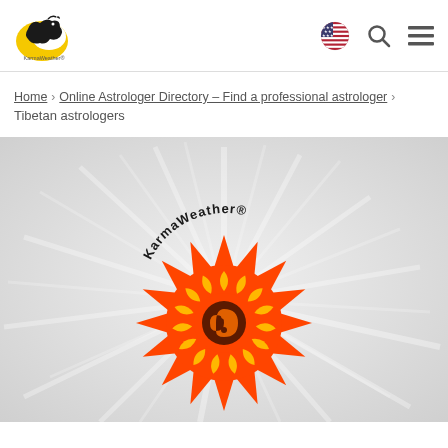[Figure (logo): KarmaWeather logo: black dragon on yellow crescent moon]
[Figure (illustration): US flag circle icon, search icon, hamburger menu icon in navigation header]
Home › Online Astrologer Directory – Find a professional astrologer › Tibetan astrologers
[Figure (illustration): KarmaWeather banner with large orange mandala/flower starburst logo on grey background with white ray lines, text 'KarmaWeather®' in arc above the flower]